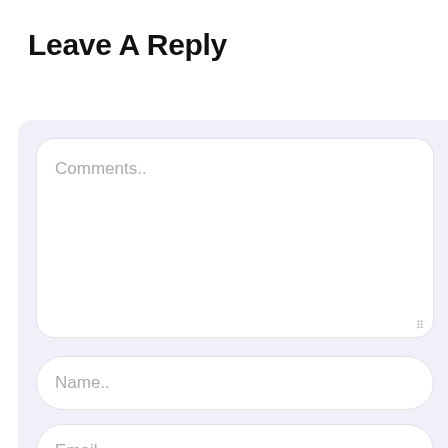Leave A Reply
[Figure (screenshot): A web comment form with a large Comments textarea field, a Name input field, and an Email input field, all with rounded corners on a light lavender background.]